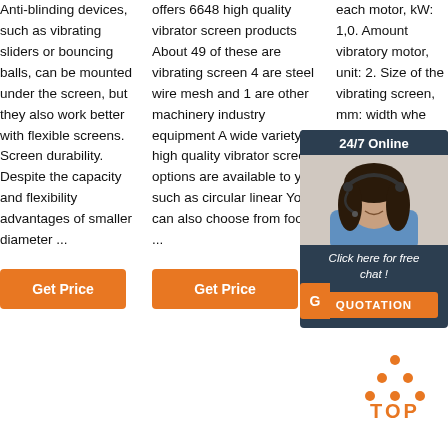Anti-blinding devices, such as vibrating sliders or bouncing balls, can be mounted under the screen, but they also work better with flexible screens. Screen durability. Despite the capacity and flexibility advantages of smaller diameter ...
offers 6648 high quality vibrator screen products About 49 of these are vibrating screen 4 are steel wire mesh and 1 are other machinery industry equipment A wide variety of high quality vibrator screen options are available to you such as circular linear You can also choose from food ...
each motor, kW: 1,0. Amount vibratory motor, unit: 2. Size of the vibrating screen, mm: width whe tilted
[Figure (photo): Customer service representative wearing headset, with 24/7 Online chat widget overlay showing orange QUOTATION button]
Get Price (button, column 1)
Get Price (button, column 2)
[Figure (infographic): Orange TOP icon with dots arranged in triangle above the word TOP]